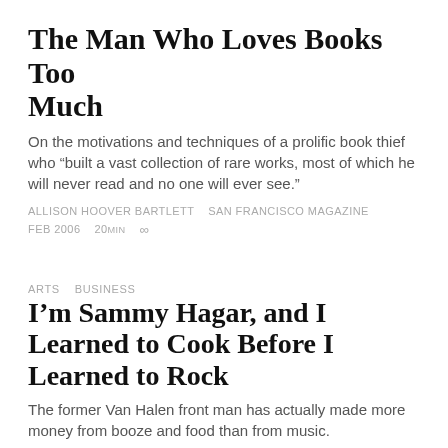The Man Who Loves Books Too Much
On the motivations and techniques of a prolific book thief who “built a vast collection of rare works, most of which he will never read and no one will ever see.”
ALLISON HOOVER BARTLETT   SAN FRANCISCO MAGAZINE
FEB 2006   20MIN   ∞
ARTS   BUSINESS
I’m Sammy Hagar, and I Learned to Cook Before I Learned to Rock
The former Van Halen front man has actually made more money from booze and food than from music.
REBECCA FLINT MARX   SAN FRANCISCO MAGAZINE   JUL 2015
15MIN   ∞
Why Are Palo Alto’s Kids Killing